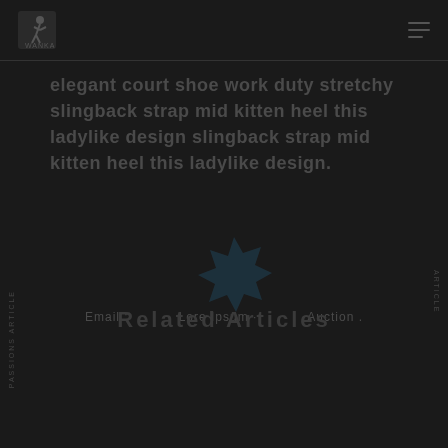WANKA [logo] [menu icon]
elegant court shoe work duty stretchy slingback strap mid kitten heel this ladylike design slingback strap mid kitten heel this ladylike design.
[Figure (illustration): Dark teal star/asterisk burst shape in center of page]
Email   Lore Ipsum   Auction
Related Articles